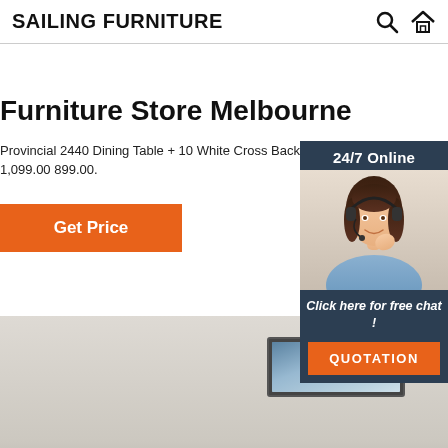SAILING FURNITURE
Furniture Store Melbourne
Provincial 2440 Dining Table + 10 White Cross Back C 1,099.00 899.00.
Get Price
[Figure (photo): Customer support woman with headset, 24/7 Online chat widget with QUOTATION button]
[Figure (photo): Dining room furniture store scene with framed panoramic picture on wall]